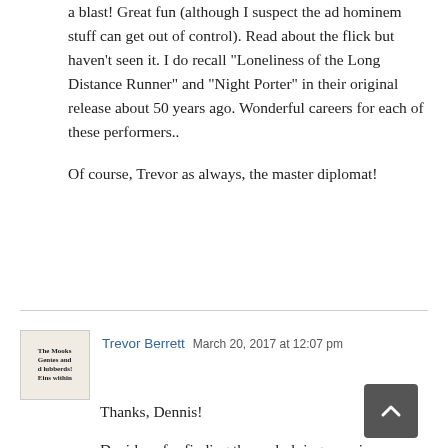a blast! Great fun (although I suspect the ad hominem stuff can get out of control). Read about the flick but haven't seen it. I do recall "Loneliness of the Long Distance Runner" and "Night Porter" in their original release about 50 years ago. Wonderful careers for each of these performers..
Of course, Trevor as always, the master diplomat!
[Figure (illustration): Avatar thumbnail showing text: The Mooks Gentes and d lubberds! Eins within]
Trevor Berrett  March 20, 2017 at 12:07 pm
Thanks, Dennis!
David, as for finding the underlying premise "completely outlandish," perhaps I overstated it a bit. I do think that having the Swiss authorities contact Geoff because they've